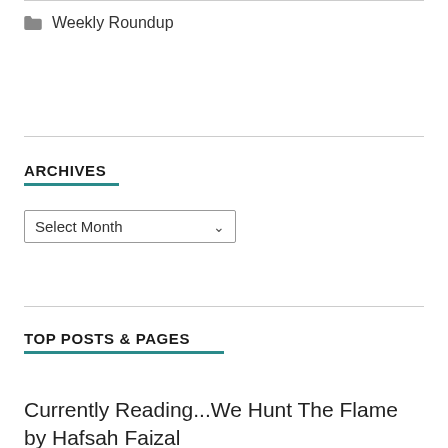Weekly Roundup
ARCHIVES
Select Month
TOP POSTS & PAGES
Currently Reading...We Hunt The Flame by Hafsah Faizal